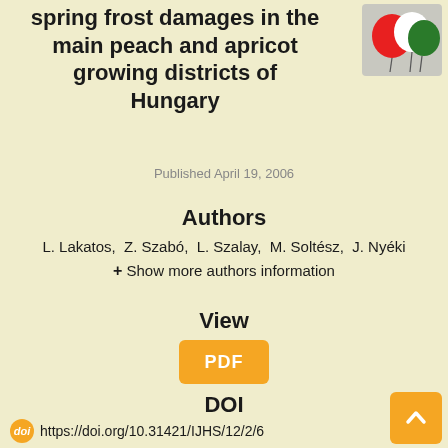spring frost damages in the main peach and apricot growing districts of Hungary
[Figure (logo): Hungarian flag/logo with red, white and green balloon/flag motif in top right corner]
Published April 19, 2006
Authors
L. Lakatos,  Z. Szabó,  L. Szalay,  M. Soltész,  J. Nyéki
+ Show more authors information
View
PDF
DOI
https://doi.org/10.31421/IJHS/12/2/6